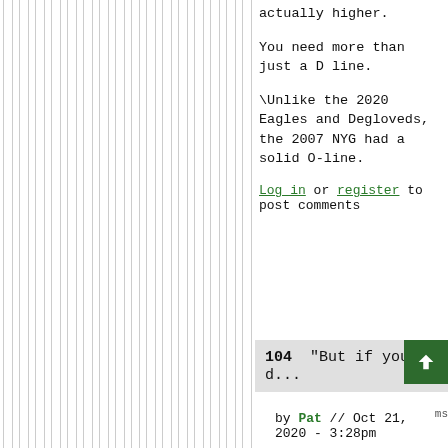actually higher.
You need more than just a D line.
\Unlike the 2020 Eagles and Degloveds, the 2007 NYG had a solid O-line.
Log in or register to post comments
104  "But if you d...
by Pat // Oct 21, 2020 - 3:28pm